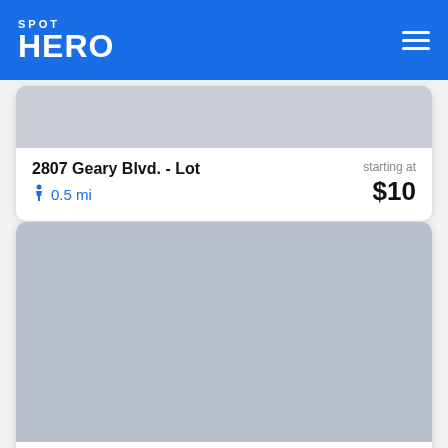SPOT HERO
[Figure (screenshot): Parking app listing card image placeholder (gray)]
2807 Geary Blvd. - Lot
0.5 mi
starting at $10
[Figure (photo): Parking garage image placeholder (gray)]
650 Golden Gate Ave. (601 Van Ness Ave.) - Self Park Garage
starting at $23
Excellent (3,183)